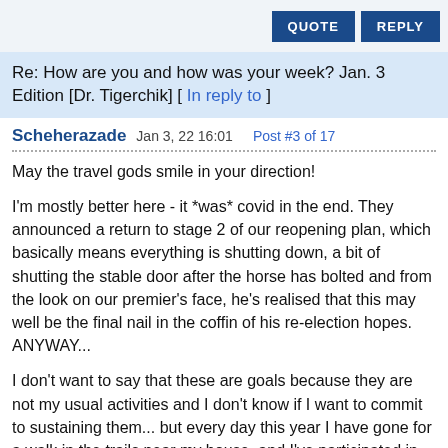QUOTE   REPLY
Re: How are you and how was your week? Jan. 3 Edition [Dr. Tigerchik] [ In reply to ]
Scheherazade  Jan 3, 22 16:01  Post #3 of 17
May the travel gods smile in your direction!
I'm mostly better here - it *was* covid in the end. They announced a return to stage 2 of our reopening plan, which basically means everything is shutting down, a bit of shutting the stable door after the horse has bolted and from the look on our premier's face, he's realised that this may well be the final nail in the coffin of his re-election hopes. ANYWAY...
I don't want to say that these are goals because they are not my usual activities and I don't know if I want to commit to sustaining them... but every day this year I have gone for a walk in the trails near my house, and I've participated in the first two days of Adriene Mishler's 30 day series. Who knows, they may be a thing, they may not be. I'm not putting